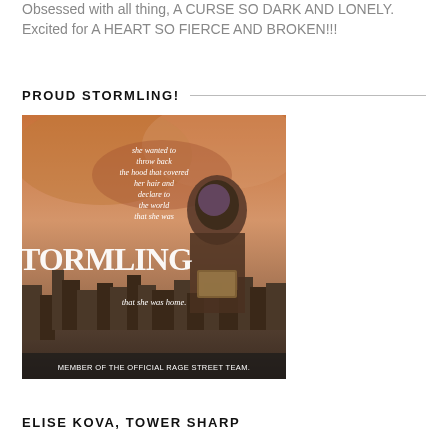Obsessed with all thing, A CURSE SO DARK AND LONELY. Excited for A HEART SO FIERCE AND BROKEN!!!
PROUD STORMLING!
[Figure (illustration): Book promotional image for 'Stormling' with white text overlay reading: 'she wanted to throw back the hood that covered her hair and declare to the world that she was STORMLING that she was home.' Bottom text reads 'MEMBER OF THE OFFICIAL RAGE STREET TEAM.' Shows a hooded figure against a dramatic fiery sky and city backdrop.]
ELISE KOVA, TOWER SHARP